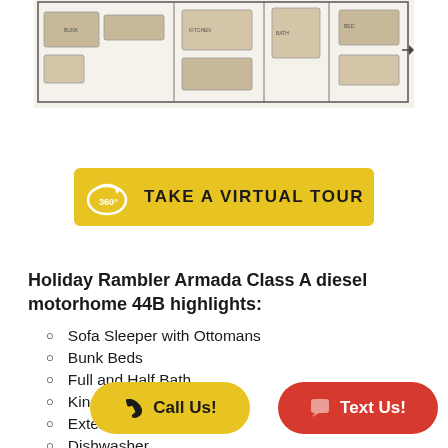[Figure (engineering-diagram): Partial floor plan schematic of Holiday Rambler Armada Class A diesel motorhome 44B, showing top-down layout with rooms, furniture, and compartments]
[Figure (other): Yellow button with 360-degree icon and text 'TAKE A VIRTUAL TOUR']
Holiday Rambler Armada Class A diesel motorhome 44B highlights:
Sofa Sleeper with Ottomans
Bunk Beds
Full and Half Bath
King-Size Bed
Exterior LED
Dishwasher
[Figure (other): Yellow pill-shaped 'Call Us!' button with phone icon]
[Figure (other): Red pill-shaped 'Text Us!' button with speech bubble icon]